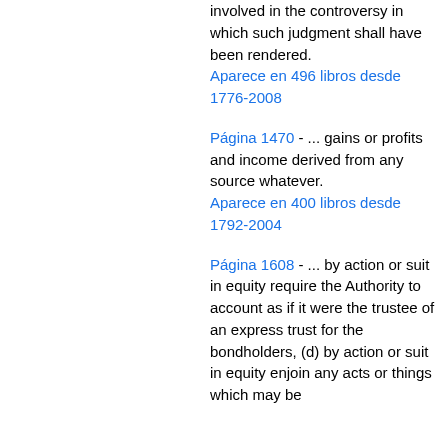involved in the controversy in which such judgment shall have been rendered.
Aparece en 496 libros desde 1776-2008
Página 1470 - ... gains or profits and income derived from any source whatever.
Aparece en 400 libros desde 1792-2004
Página 1608 - ... by action or suit in equity require the Authority to account as if it were the trustee of an express trust for the bondholders, (d) by action or suit in equity enjoin any acts or things which may be